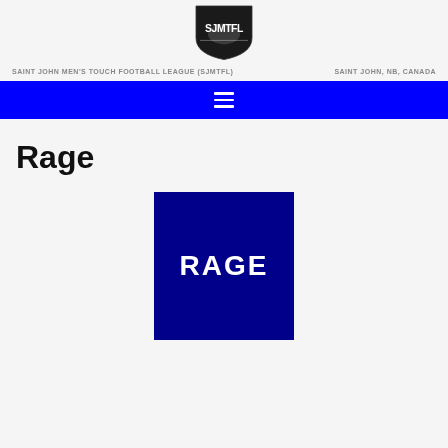[Figure (logo): SJMTFL logo — stylized shield with football and letters SJMTFL in bold graphic style]
SAINT JOHN MEN'S TOUCH FOOTBALL LEAGUE (SJMTFL)    SAINT JOHN, NB, CANADA
Rage
[Figure (logo): Rage team logo — dark blue square with white bold text reading RAGE]